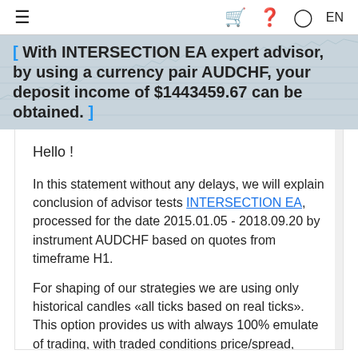≡  🛒  ?  👤  EN
[ With INTERSECTION EA expert advisor, by using a currency pair AUDCHF, your deposit income of $1443459.67 can be obtained. ]
Hello !
In this statement without any delays, we will explain conclusion of advisor tests INTERSECTION EA, processed for the date 2015.01.05 - 2018.09.20 by instrument AUDCHF based on quotes from timeframe H1.
For shaping of our strategies we are using only historical candles «all ticks based on real ticks». This option provides us with always 100% emulate of trading, with traded conditions price/spread, same as in real trading. Verification was concluded with the